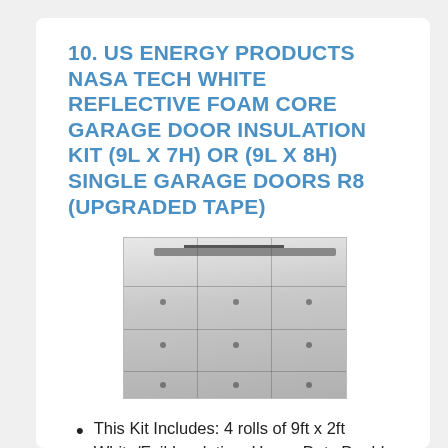10. US ENERGY PRODUCTS NASA TECH WHITE REFLECTIVE FOAM CORE GARAGE DOOR INSULATION KIT (9L X 7H) OR (9L X 8H) SINGLE GARAGE DOORS R8 (UPGRADED TAPE)
[Figure (photo): Photo of a white reflective foam insulation panel installed on a garage door, viewed from inside the garage. The insulation is white/silver with visible panel sections and mounting clips. A garage door track and overhead components are visible at the top.]
This Kit Includes: 4 rolls of 9ft x 2ft White/Foil Insulation, Heavy Duty Double Sied Tape, Razor, Squeegee,